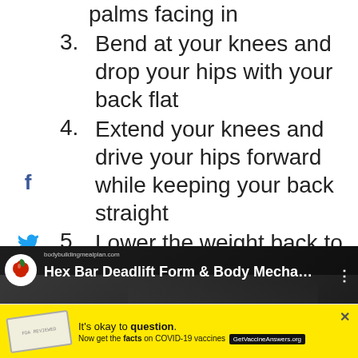2. Grab the center of the handles with palms facing in
3. Bend at your knees and drop your hips with your back flat
4. Extend your knees and drive your hips forward while keeping your back straight
5. Lower the weight back to the starting point
6. Repeat for the desired number of reps
[Figure (screenshot): Video thumbnail for 'Hex Bar Deadlift Form & Body Mecha...' from bodybuildingmealplan.com showing a man in a gym performing a deadlift exercise]
[Figure (infographic): Advertisement banner with yellow background: 'It's okay to question. Now get the facts on COVID-19 vaccines' with GetVaccineAnswers.org button]